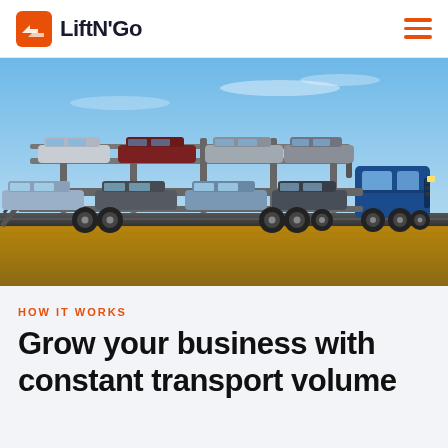LiftN'Go
[Figure (photo): Car transporter truck loaded with multiple vehicles on two levels driving on a highway with a grassy field and blue sky in the background.]
HOW IT WORKS
Grow your business with constant transport volume